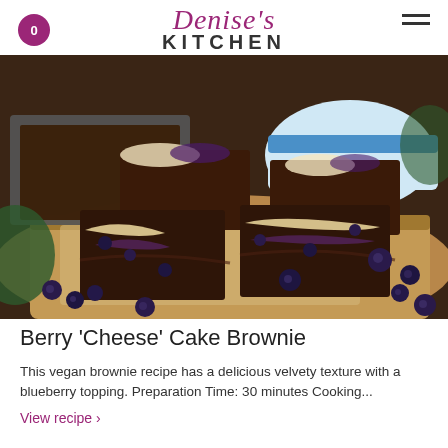Denise's KITCHEN
[Figure (photo): Chocolate blueberry cheesecake brownies stacked on a wooden cutting board with fresh blueberries scattered around. In the background, a baking pan and a container of cream cheese are visible.]
Berry 'Cheese' Cake Brownie
This vegan brownie recipe has a delicious velvety texture with a blueberry topping. Preparation Time:  30 minutes Cooking...
View recipe ›